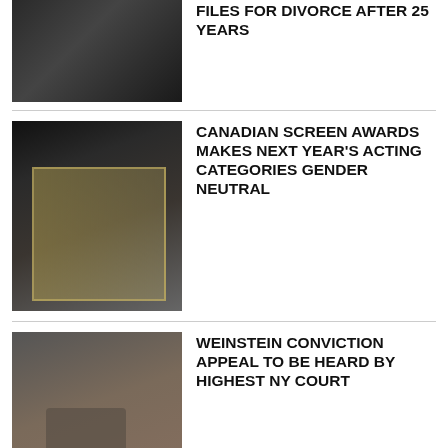[Figure (photo): Couple at formal event, man in dark suit, woman in black dress]
FILES FOR DIVORCE AFTER 25 YEARS
[Figure (photo): Canadian Screen Awards trophies displayed on a gold rack in a dark room, person in background]
CANADIAN SCREEN AWARDS MAKES NEXT YEAR'S ACTING CATEGORIES GENDER NEUTRAL
[Figure (photo): Harvey Weinstein seated wearing a blue face mask in a courtroom setting]
WEINSTEIN CONVICTION APPEAL TO BE HEARD BY HIGHEST NY COURT
[Figure (photo): Group of people posing together on stairs outdoors, Kids in the Hall cast]
THE KIDS ARE BACK: AHEAD OF FAN EXPO APPEARANCE, BRUCE MCCULLOCH EXPLAINS HOW THE KIDS IN THE HALL KEEP THE LAUGHS COMING